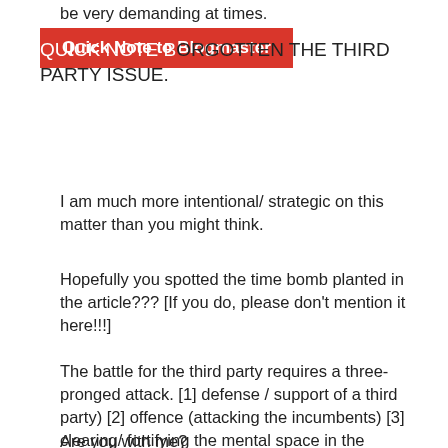be very demanding at times.
Quick Note to Blogmaster
ORGOTTEN THE THIRD PARTY ISSUE.
I am much more intentional/ strategic on this matter than you might think.
Hopefully you spotted the time bomb planted in the article??? [If you do, please don't mention it here!!!]
The battle for the third party requires a three-pronged attack. [1] defense / support of a third party) [2] offence (attacking the incumbents) [3] clearing/ fortifying the mental space in the electorate for a third party [e.g. this article].
Are you with me?